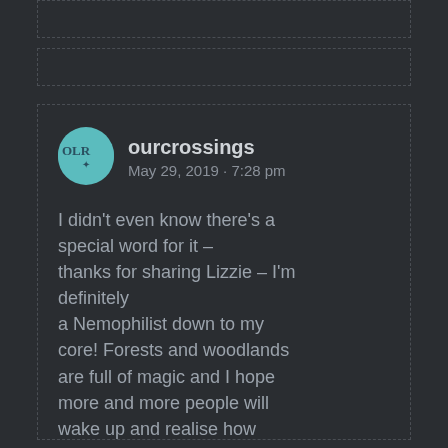[Figure (screenshot): Dark background social media comment screenshot showing two partial card outlines at top, and a main comment card from user 'ourcrossings' dated May 29, 2019 · 7:28 pm with text about being a Nemophilist]
ourcrossings
May 29, 2019 · 7:28 pm
I didn't even know there's a special word for it – thanks for sharing Lizzie – I'm definitely a Nemophilist down to my core! Forests and woodlands are full of magic and I hope more and more people will wake up and realise how spending time admiring trees and all living things can be